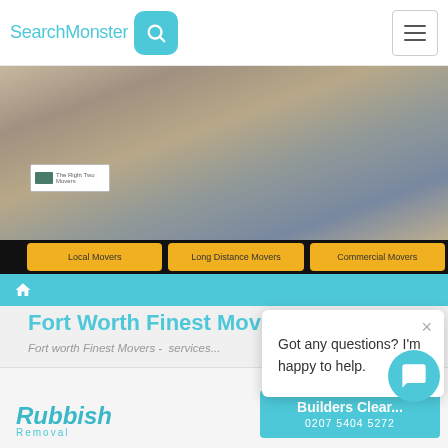SearchMonster [search icon] [hamburger menu]
[Figure (photo): Two people sitting on the floor among moving boxes, celebrating with wine glasses. A moving company label is visible on one of the boxes.]
Local Movers | Long Distance Movers | Commercial Movers
[Figure (screenshot): Website navigation bar with home icon on blue background]
Fort Worth Finest Movers
Fort worth Finest Movers - services...
Got any questions? I'm happy to help.
[Figure (logo): Rubbish Removal logo in teal italic font]
Builders Clear... 0207 5404 5272